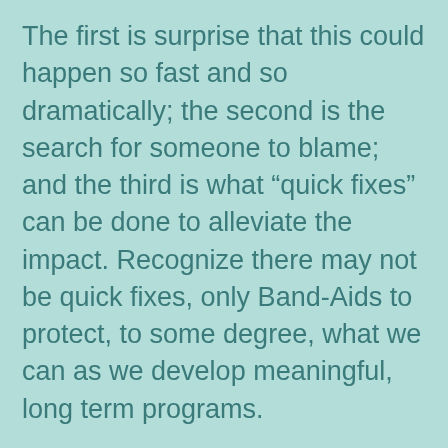The first is surprise that this could happen so fast and so dramatically; the second is the search for someone to blame; and the third is what “quick fixes” can be done to alleviate the impact. Recognize there may not be quick fixes, only Band-Aids to protect, to some degree, what we can as we develop meaningful, long term programs.
Blaming is easy but does little to resolve the issue.